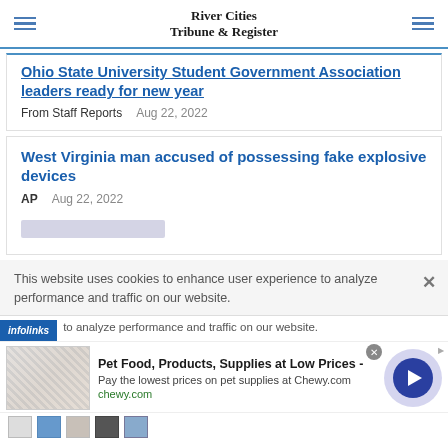River Cities Tribune & Register
Association leaders ready for new year
From Staff Reports   Aug 22, 2022
West Virginia man accused of possessing fake explosive devices
AP   Aug 22, 2022
This website uses cookies to enhance user experience to analyze performance and traffic on our website.
[Figure (screenshot): Infolinks ad label and Chewy.com advertisement banner with pet food products]
Pet Food, Products, Supplies at Low Prices - Pay the lowest prices on pet supplies at Chewy.com chewy.com